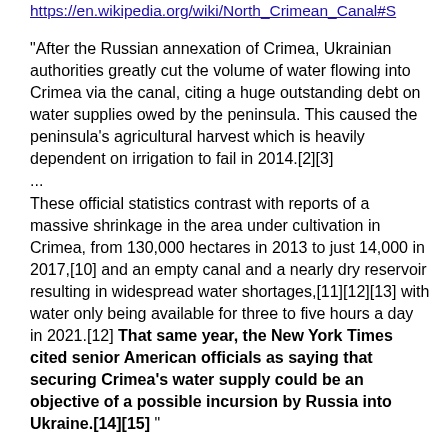https://en.wikipedia.org/wiki/North_Crimean_Canal#S
"After the Russian annexation of Crimea, Ukrainian authorities greatly cut the volume of water flowing into Crimea via the canal, citing a huge outstanding debt on water supplies owed by the peninsula. This caused the peninsula's agricultural harvest which is heavily dependent on irrigation to fail in 2014.[2][3] ... These official statistics contrast with reports of a massive shrinkage in the area under cultivation in Crimea, from 130,000 hectares in 2013 to just 14,000 in 2017,[10] and an empty canal and a nearly dry reservoir resulting in widespread water shortages,[11][12][13] with water only being available for three to five hours a day in 2021.[12] That same year, the New York Times cited senior American officials as saying that securing Crimea's water supply could be an objective of a possible incursion by Russia into Ukraine.[14][15] "